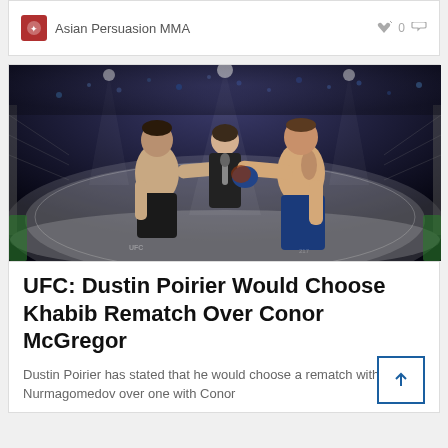Asian Persuasion MMA
[Figure (photo): Two MMA fighters touching gloves in the UFC octagon before a fight, with a referee holding a microphone standing between them. Arena lights and crowd visible in the background.]
UFC: Dustin Poirier Would Choose Khabib Rematch Over Conor McGregor
Dustin Poirier has stated that he would choose a rematch with Khabib Nurmagomedov over one with Conor